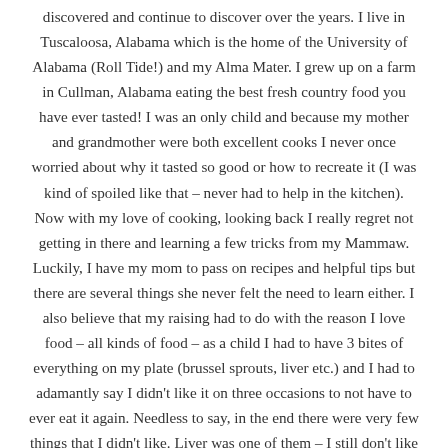discovered and continue to discover over the years. I live in Tuscaloosa, Alabama which is the home of the University of Alabama (Roll Tide!) and my Alma Mater. I grew up on a farm in Cullman, Alabama eating the best fresh country food you have ever tasted! I was an only child and because my mother and grandmother were both excellent cooks I never once worried about why it tasted so good or how to recreate it (I was kind of spoiled like that – never had to help in the kitchen). Now with my love of cooking, looking back I really regret not getting in there and learning a few tricks from my Mammaw. Luckily, I have my mom to pass on recipes and helpful tips but there are several things she never felt the need to learn either. I also believe that my raising had to do with the reason I love food – all kinds of food – as a child I had to have 3 bites of everything on my plate (brussel sprouts, liver etc.) and I had to adamantly say I didn't like it on three occasions to not have to ever eat it again. Needless to say, in the end there were very few things that I didn't like. Liver was one of them – I still don't like it. So……now I LOVE to cook and eat and I also like to share